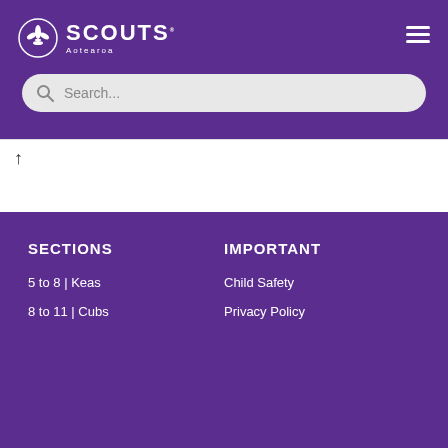[Figure (logo): Scouts Aotearoa logo - white fleur-de-lis icon with SCOUTS text and Aotearoa subtitle in white on purple background]
Search...
↑
SECTIONS
IMPORTANT
5 to 8 | Keas
8 to 11 | Cubs
Child Safety
Privacy Policy